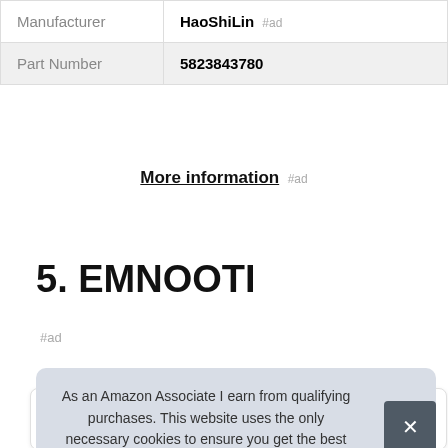| Manufacturer | HaoShiLin #ad |
| Part Number | 5823843780 |
More information #ad
5. EMNOOTI
#ad
As an Amazon Associate I earn from qualifying purchases. This website uses the only necessary cookies to ensure you get the best experience on our website. More information